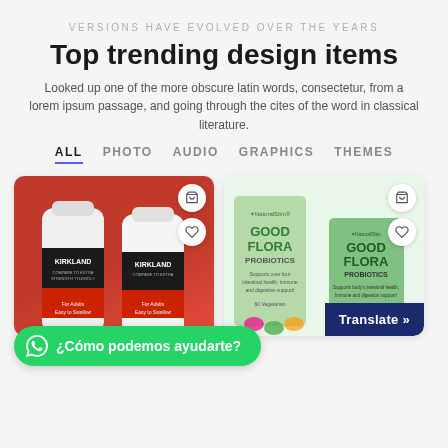VERSIONS HAVE EVOLVED OVER THE YEARS
Top trending design items
Looked up one of the more obscure latin words, consectetur, from a lorem ipsum passage, and going through the cites of the word in classical literature.
ALL
PHOTO
AUDIO
GRAPHICS
THEMES
[Figure (photo): Two Kirkland supplement bottles with red label on red background]
[Figure (photo): Two NaturalSlim Good Flora Probiotics boxes on light green background]
¿Cómo podemos ayudarte?
Translate »